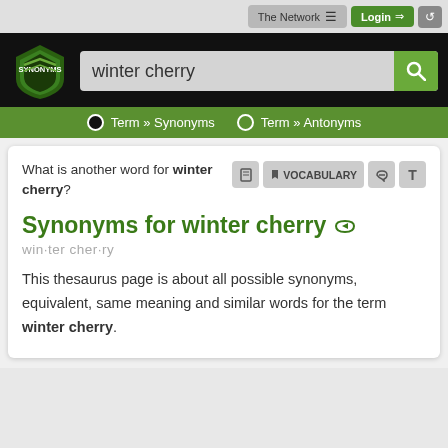The Network ≡   Login →   ⟳
[Figure (logo): Synonyms.com shield logo with green and black chevron design]
winter cherry (search input)
Term » Synonyms   Term » Antonyms
What is another word for winter cherry?
Synonyms for winter cherry
win·ter cher·ry
This thesaurus page is about all possible synonyms, equivalent, same meaning and similar words for the term winter cherry.